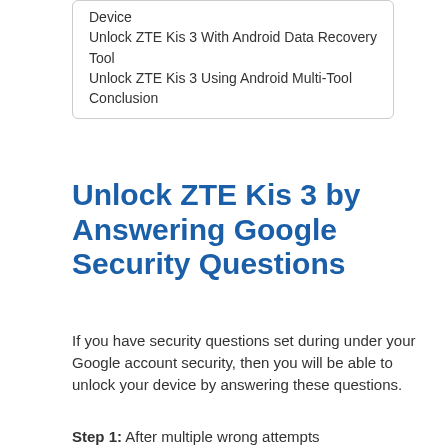Device
Unlock ZTE Kis 3 With Android Data Recovery Tool
Unlock ZTE Kis 3 Using Android Multi-Tool
Conclusion
Unlock ZTE Kis 3 by Answering Google Security Questions
If you have security questions set during under your Google account security, then you will be able to unlock your device by answering these questions.
Step 1: After multiple wrong attempts